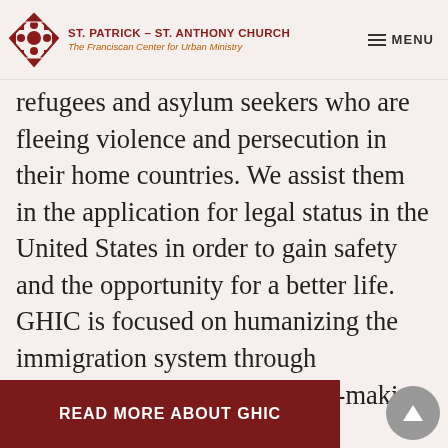ST. PATRICK – ST. ANTHONY CHURCH | The Franciscan Center for Urban Ministry | MENU
refugees and asylum seekers who are fleeing violence and persecution in their home countries. We assist them in the application for legal status in the United States in order to gain safety and the opportunity for a better life. GHIC is focused on humanizing the immigration system through participation in advocacy, rule-making and reform.
READ MORE ABOUT GHIC